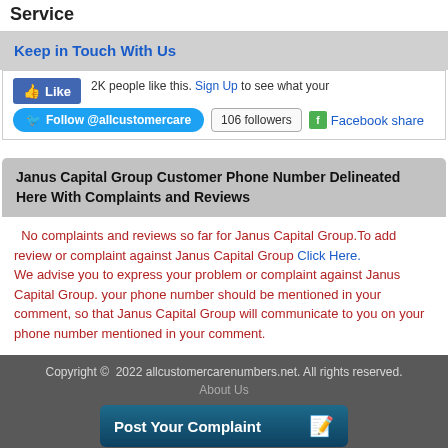Service
Keep in Touch With Us
Like  2K people like this. Sign Up to see what your
Follow @allcustomercare  106 followers  Facebook share
Janus Capital Group Customer Phone Number Delineated Here With Complaints and Reviews
No complaints and reviews so far for Janus Capital Group.To add review or complaint against Janus Capital Group Click Here.
We advise you to express your problem or complaint against Janus Capital Group. your phone number should be mentioned in your comment, so that Janus Capital Group will communicate to you on your phone number mentioned in your comment.
Copyright © 2022 allcustomercarenumbers.net. All rights reserved.
About Us
Post Your Complaint